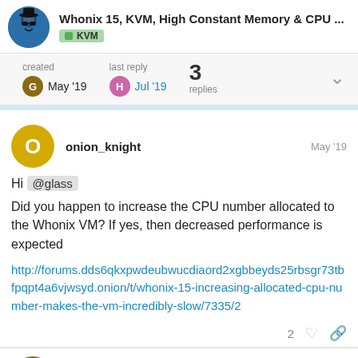Whonix 15, KVM, High Constant Memory & CPU ... | KVM
created May '19 | last reply Jul '19 | 3 replies
onion_knight May '19

Hi @glass Did you happen to increase the CPU number allocated to the Whonix VM? If yes, then decreased performance is expected

http://forums.dds6qkxpwdeubwucdiaord2xgbbeyds25rbsgr73tbfpqpt4a6vjwsyd.onion/t/whonix-15-increasing-allocated-cpu-number-makes-the-vm-incredibly-slow/7335/2
glass May '19